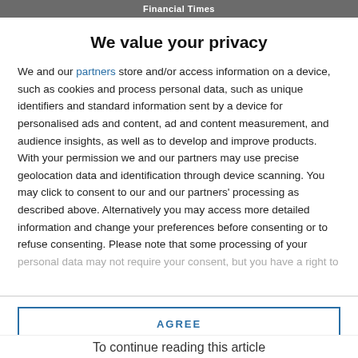Financial Times
We value your privacy
We and our partners store and/or access information on a device, such as cookies and process personal data, such as unique identifiers and standard information sent by a device for personalised ads and content, ad and content measurement, and audience insights, as well as to develop and improve products. With your permission we and our partners may use precise geolocation data and identification through device scanning. You may click to consent to our and our partners' processing as described above. Alternatively you may access more detailed information and change your preferences before consenting or to refuse consenting. Please note that some processing of your personal data may not require your consent, but you have a right to
AGREE
MORE OPTIONS
To continue reading this article